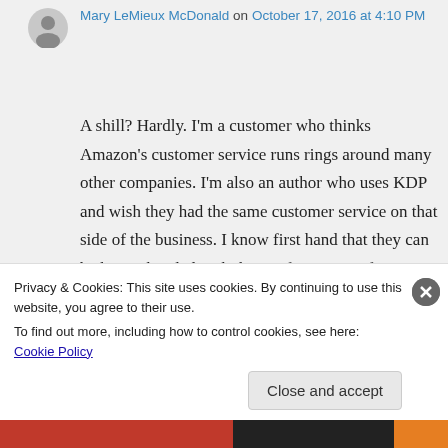[Figure (other): User avatar: grey circle with silhouette icon]
Mary LeMieux McDonald on October 17, 2016 at 4:10 PM
A shill? Hardly. I'm a customer who thinks Amazon's customer service runs rings around many other companies. I'm also an author who uses KDP and wish they had the same customer service on that side of the business. I know first hand that they can be heavy-handed with their enforcement of vague terms of
Privacy & Cookies: This site uses cookies. By continuing to use this website, you agree to their use.
To find out more, including how to control cookies, see here: Cookie Policy
Close and accept